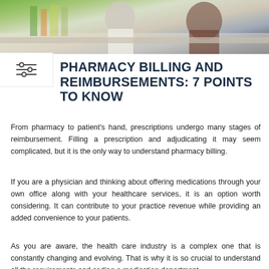[Figure (photo): Photo of a pharmacy or medical office counter, showing a person in a white coat/uniform behind a counter, with shelves of products visible in the background.]
PHARMACY BILLING AND REIMBURSEMENTS: 7 POINTS TO KNOW
From pharmacy to patient's hand, prescriptions undergo many stages of reimbursement. Filling a prescription and adjudicating it may seem complicated, but it is the only way to understand pharmacy billing.
If you are a physician and thinking about offering medications through your own office along with your healthcare services, it is an option worth considering. It can contribute to your practice revenue while providing an added convenience to your patients.
As you are aware, the health care industry is a complex one that is constantly changing and evolving. That is why it is so crucial to understand all the requirements and coding a medication department